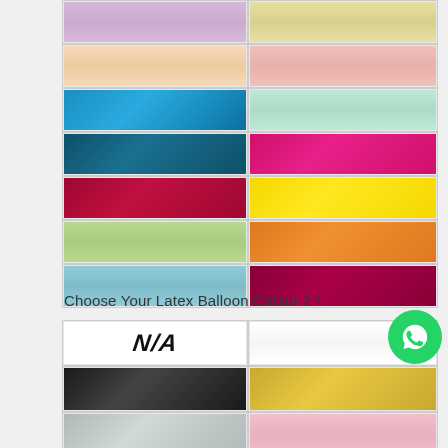[Figure (illustration): Color swatch grid showing latex balloon color options - top section with colors: lavender, cream/yellow, peach/skin, light pink, blue, mint green, teal/dark blue, hot pink/magenta, dark red/crimson, yellow, light green, orange, light blue/sky, dark burgundy/wine]
Choose Your Latex Balloon Colour 2 *
[Figure (illustration): Second color swatch grid for Latex Balloon Colour 2, starting with N/A option, then black, gold/yellow, silver/grey, pink, light blue, light purple]